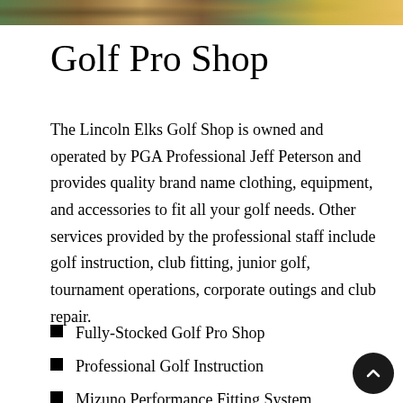[Figure (photo): Partial image strip at the top showing golf-related photo]
Golf Pro Shop
The Lincoln Elks Golf Shop is owned and operated by PGA Professional Jeff Peterson and provides quality brand name clothing, equipment, and accessories to fit all your golf needs. Other services provided by the professional staff include golf instruction, club fitting, junior golf, tournament operations, corporate outings and club repair.
Fully-Stocked Golf Pro Shop
Professional Golf Instruction
Mizuno Performance Fitting System